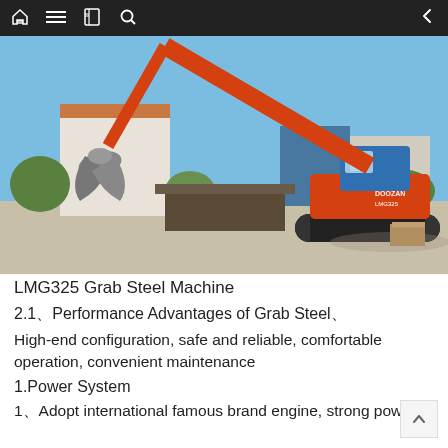navigation bar with home, menu, book, search, and back icons
[Figure (photo): LMG325 Grab Steel Machine — a large orange tracked excavator with a clamshell grab attachment on an extended boom, parked in an open yard with white buildings and trees in the background under a clear blue sky.]
LMG325 Grab Steel Machine
2.1、Performance Advantages of Grab Steel、
High-end configuration, safe and reliable, comfortable operation, convenient maintenance
1.Power System
1、Adopt international famous brand engine, strong power,